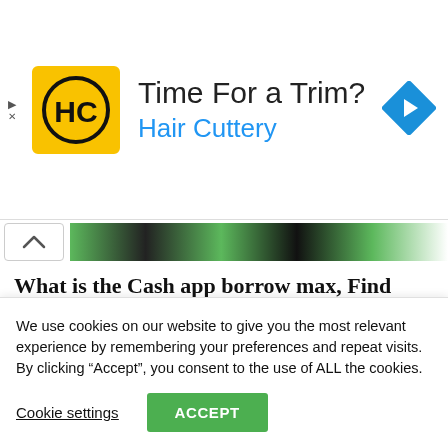[Figure (logo): Hair Cuttery advertisement banner with HC logo, headline 'Time For a Trim?' and subheading 'Hair Cuttery', with navigation arrow icon]
[Figure (photo): Partially visible colorful image strip with green and black tones, with a chevron/collapse button on the left]
What is the Cash app borrow max, Find How Much You Can Borrow
Nedbank Clearwaters Roodepoort Branch Code, Location Address, Working Hours
We use cookies on our website to give you the most relevant experience by remembering your preferences and repeat visits. By clicking “Accept”, you consent to the use of ALL the cookies.
Cookie settings
ACCEPT